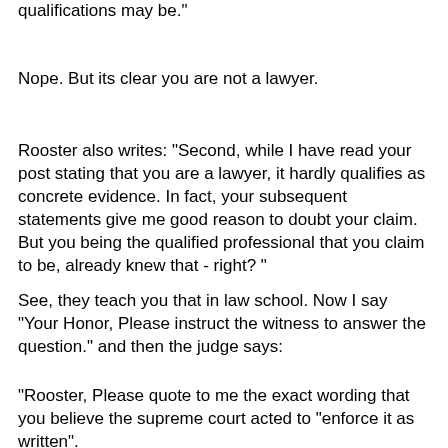Rooster says: "First, you don't know what my professional qualifications may be."
Nope. But its clear you are not a lawyer.
Rooster also writes: "Second, while I have read your post stating that you are a lawyer, it hardly qualifies as concrete evidence. In fact, your subsequent statements give me good reason to doubt your claim. But you being the qualified professional that you claim to be, already knew that - right? "
See, they teach you that in law school. Now I say "Your Honor, Please instruct the witness to answer the question." and then the judge says:
"Rooster, Please quote to me the exact wording that you believe the supreme court acted to "enforce it as written".